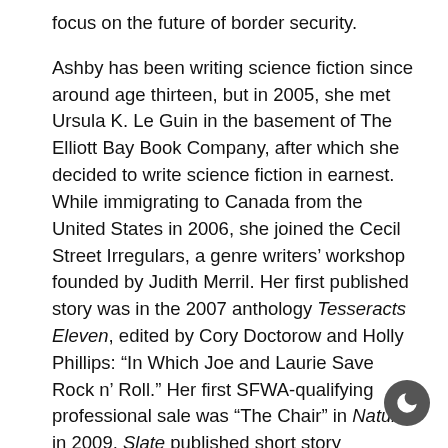focus on the future of border security.
Ashby has been writing science fiction since around age thirteen, but in 2005, she met Ursula K. Le Guin in the basement of The Elliott Bay Book Company, after which she decided to write science fiction in earnest. While immigrating to Canada from the United States in 2006, she joined the Cecil Street Irregulars, a genre writers' workshop founded by Judith Merril. Her first published story was in the 2007 anthology Tesseracts Eleven, edited by Cory Doctorow and Holly Phillips: “In Which Joe and Laurie Save Rock n’ Roll.” Her first SFWA-qualifying professional sale was “The Chair” in Nature in 2009. Slate published short story “Domestic Violence” in 2018, which was a Sunburst Award finalist. “Work Shadow/Shadow